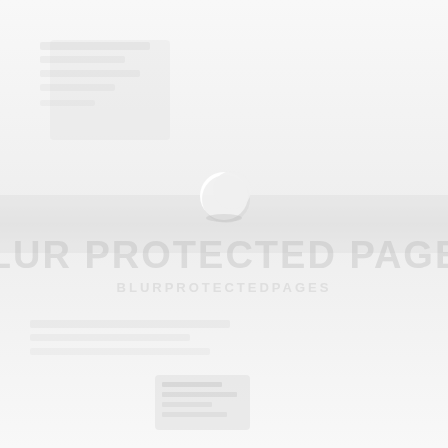[Figure (other): A loading/spinner icon (crescent moon shape) centered on a light gray background with a watermark text overlay reading 'BLUR PROTECTED PAGES' and sub-text below. The page appears to be a blurred/protected document page with a loading indicator.]